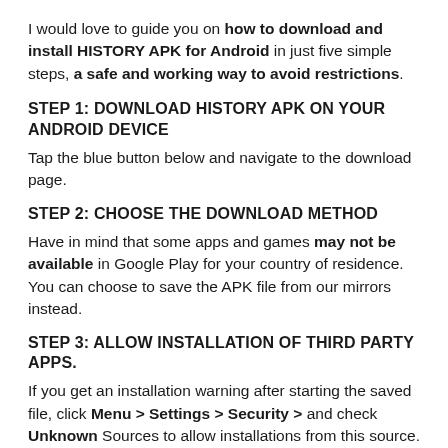I would love to guide you on how to download and install HISTORY APK for Android in just five simple steps, a safe and working way to avoid restrictions.
STEP 1: DOWNLOAD HISTORY APK ON YOUR ANDROID DEVICE
Tap the blue button below and navigate to the download page.
STEP 2: CHOOSE THE DOWNLOAD METHOD
Have in mind that some apps and games may not be available in Google Play for your country of residence. You can choose to save the APK file from our mirrors instead.
STEP 3: ALLOW INSTALLATION OF THIRD PARTY APPS.
If you get an installation warning after starting the saved file, click Menu > Settings > Security > and check Unknown Sources to allow installations from this source.